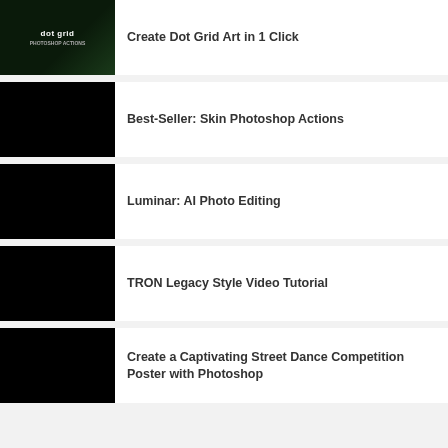Create Dot Grid Art in 1 Click
Best-Seller: Skin Photoshop Actions
Luminar: AI Photo Editing
TRON Legacy Style Video Tutorial
Create a Captivating Street Dance Competition Poster with Photoshop